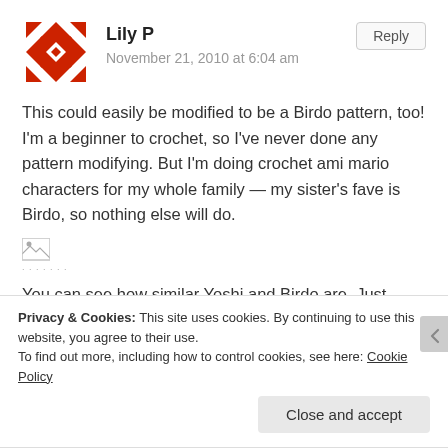[Figure (logo): Red and white diamond/chevron pattern avatar for user Lily P]
Lily P
November 21, 2010 at 6:04 am
Reply
This could easily be modified to be a Birdo pattern, too! I'm a beginner to crochet, so I've never done any pattern modifying. But I'm doing crochet ami mario characters for my whole family — my sister's fave is Birdo, so nothing else will do.
[Figure (photo): Broken image placeholder with dotted border]
You can see how similar Yoshi and Birdo are. Just need to modify the mouth, nix the saddle and front stripe, add some claws and a big red bow! I think I'm going to give it a shot!
Privacy & Cookies: This site uses cookies. By continuing to use this website, you agree to their use.
To find out more, including how to control cookies, see here: Cookie Policy
Close and accept